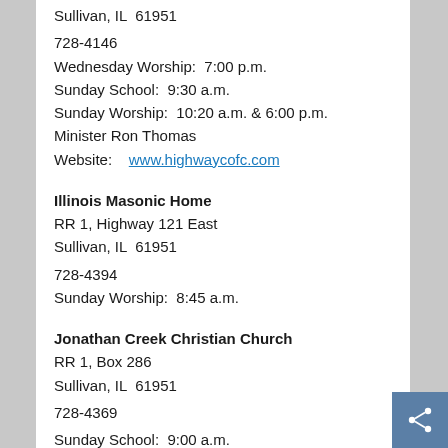Sullivan, IL  61951
728-4146
Wednesday Worship:  7:00 p.m.
Sunday School:  9:30 a.m.
Sunday Worship:  10:20 a.m. & 6:00 p.m.
Minister Ron Thomas
Website:   www.highwaycofc.com
Illinois Masonic Home
RR 1, Highway 121 East
Sullivan, IL  61951
728-4394
Sunday Worship:  8:45 a.m.
Jonathan Creek Christian Church
RR 1, Box 286
Sullivan, IL  61951
728-4369
Sunday School:  9:00 a.m.
Sunday Worship:  10:00 a.m.